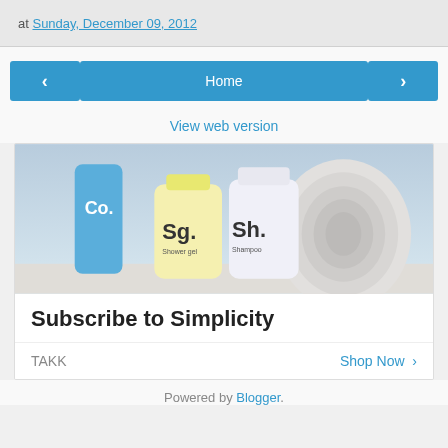at Sunday, December 09, 2012
< Home >
View web version
[Figure (photo): Advertisement showing personal care product bottles (Sg. shower gel and Sh. shampoo) next to rolled white towels, with text 'Subscribe to Simplicity', brand 'TAKK', and 'Shop Now >' link]
Powered by Blogger.